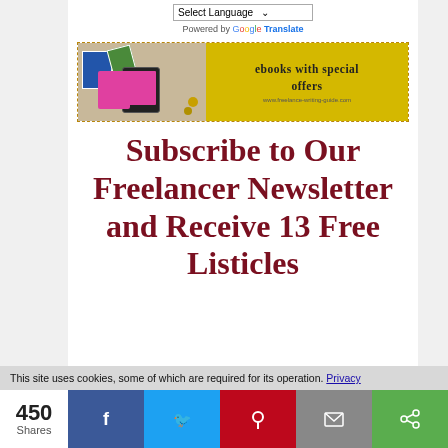Select Language (dropdown) — Powered by Google Translate
[Figure (illustration): Banner advertisement for ebooks with special offers, showing books and a tablet on a golden/yellow background]
Subscribe to Our Freelancer Newsletter and Receive 13 Free Listicles
This site uses cookies, some of which are required for its operation. Privacy
450 Shares — Facebook, Twitter, Pinterest, Email, Share social buttons